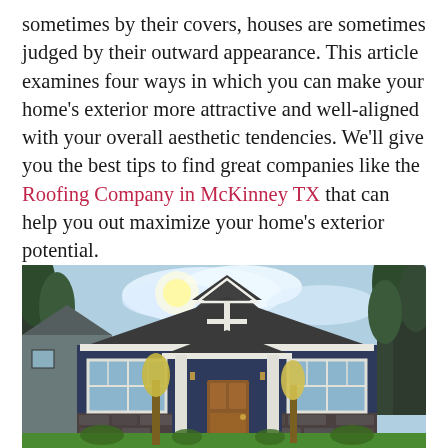sometimes by their covers, houses are sometimes judged by their outward appearance. This article examines four ways in which you can make your home's exterior more attractive and well-aligned with your overall aesthetic tendencies. We'll give you the best tips to find great companies like the Roofing Company in McKinney TX that can help you out maximize your home's exterior potential.
[Figure (photo): A craftsman-style house with dark navy blue siding, white trim, stone foundation accents, a brown wooden front door, large windows, a covered front porch with white columns, surrounded by green lawn, tall evergreen trees, and smaller ornamental trees in an autumn setting.]